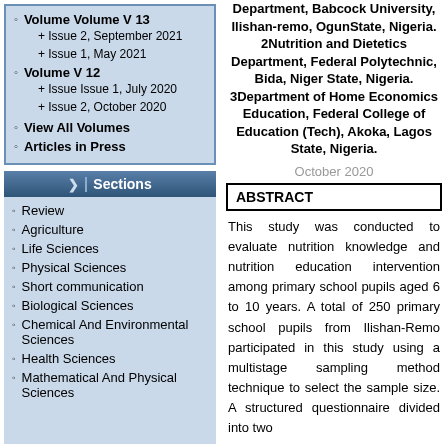Volume Volume V 13
+ Issue 2, September 2021
+ Issue 1, May 2021
Volume V 12
+ Issue Issue 1, July 2020
+ Issue 2, October 2020
View All Volumes
Articles in Press
Sections
Review
Agriculture
Life Sciences
Physical Sciences
Short communication
Biological Sciences
Chemical And Environmental Sciences
Health Sciences
Mathematical And Physical Sciences
Department, Babcock University, Ilishan-remo, OgunState, Nigeria. 2Nutrition and Dietetics Department, Federal Polytechnic, Bida, Niger State, Nigeria. 3Department of Home Economics Education, Federal College of Education (Tech), Akoka, Lagos State, Nigeria.
October 2020
ABSTRACT
This study was conducted to evaluate nutrition knowledge and nutrition education intervention among primary school pupils aged 6 to 10 years. A total of 250 primary school pupils from Ilishan-Remo participated in this study using a multistage sampling method technique to select the sample size. A structured questionnaire divided into two